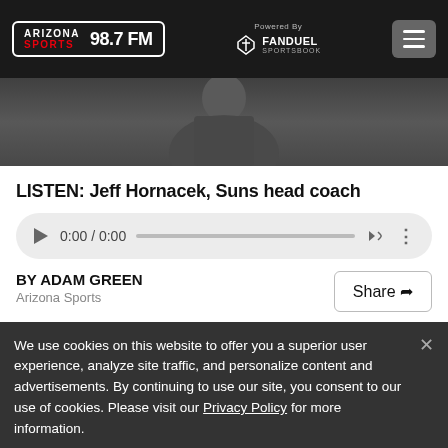ARIZONA SPORTS 98.7 FM — Powered By FANDUEL SPORTSBOOK
[Figure (photo): Partial photo of a person in a dark suit, cropped, dark background]
LISTEN: Jeff Hornacek, Suns head coach
[Figure (other): Audio player widget showing 0:00 / 0:00 with play button, progress bar, volume and more options]
BY ADAM GREEN
Arizona Sports
We use cookies on this website to offer you a superior user experience, analyze site traffic, and personalize content and advertisements. By continuing to use our site, you consent to our use of cookies. Please visit our Privacy Policy for more information.